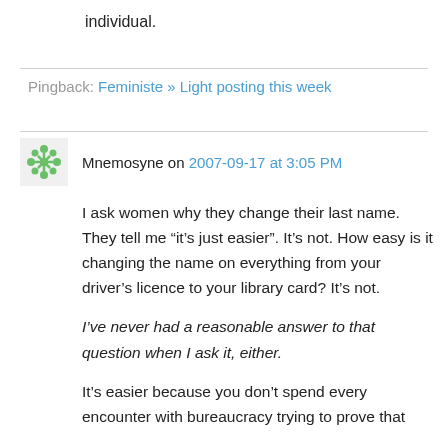individual.
Pingback: Feministe » Light posting this week
Mnemosyne on 2007-09-17 at 3:05 PM
I ask women why they change their last name. They tell me “it’s just easier”. It’s not. How easy is it changing the name on everything from your driver’s licence to your library card? It’s not.
I’ve never had a reasonable answer to that question when I ask it, either.
It’s easier because you don’t spend every encounter with bureaucracy trying to prove that